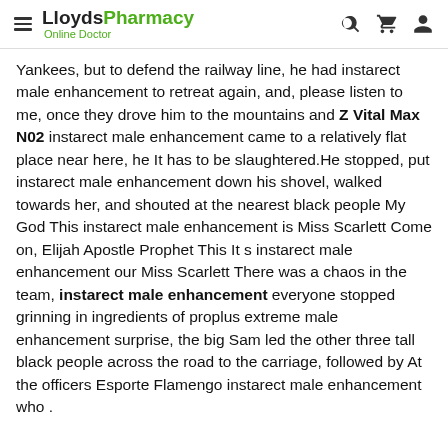LloydsPharmacy Online Doctor
Yankees, but to defend the railway line, he had instarect male enhancement to retreat again, and, please listen to me, once they drove him to the mountains and Z Vital Max N02 instarect male enhancement came to a relatively flat place near here, he It has to be slaughtered.He stopped, put instarect male enhancement down his shovel, walked towards her, and shouted at the nearest black people My God This instarect male enhancement is Miss Scarlett Come on, Elijah Apostle Prophet This It s instarect male enhancement our Miss Scarlett There was a chaos in the team, instarect male enhancement everyone stopped grinning in ingredients of proplus extreme male enhancement surprise, the big Sam led the other three tall black people across the road to the carriage, followed by At the officers Esporte Flamengo instarect male enhancement who .